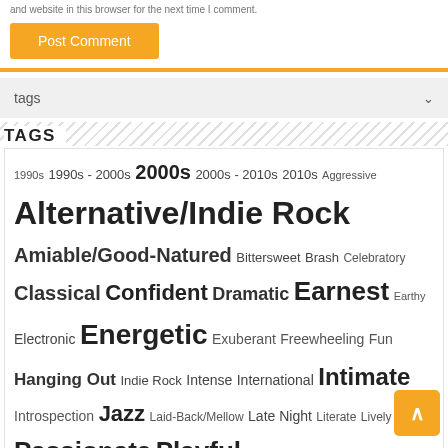and website in this browser for the next time I comment.
Post Comment
tags
TAGS
1990s 1990s - 2000s 2000s 2000s - 2010s 2010s Aggressive Alternative/Indie Rock Amiable/Good-Natured Bittersweet Brash Celebratory Classical Confident Dramatic Earnest Earthy Electronic Energetic Exuberant Freewheeling Fun Hanging Out Indie Rock Intense International Intimate Introspection Jazz Laid-Back/Mellow Late Night Literate Lively Passionate Playful Pop/Rock Reflection Reflective Rousing Sentimental Sophisticated Stylish The Creative Side Warm Wistful Yearning
RECENT POSTS
Thorleifs